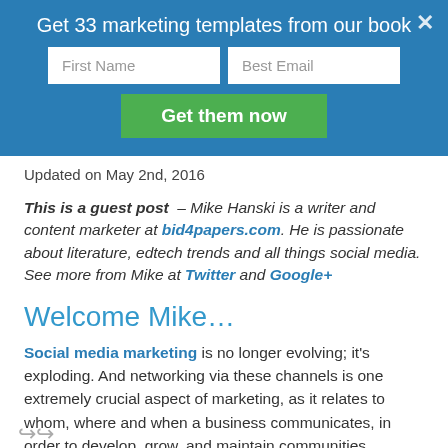Get 33 marketing templates from our book
Updated on May 2nd, 2016
This is a guest post – Mike Hanski is a writer and content marketer at bid4papers.com. He is passionate about literature, edtech trends and all things social media. See more from Mike at Twitter and Google+
Welcome Mike…
Social media marketing is no longer evolving; it's exploding. And networking via these channels is one extremely crucial aspect of marketing, as it relates to whom, where and when a business communicates, in order to develop, grow, and maintain communities.